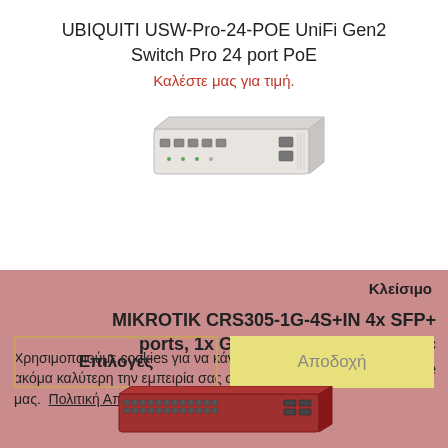UBIQUITI USW-Pro-24-POE UniFi Gen2 Switch Pro 24 port PoE
Καλέστε μας για τιμή.
[Figure (photo): Photo of a white network switch (Ubiquiti USW-Pro-24-POE) viewed from a slight angle, showing front ports]
Κλείσιμο
MIKROTIK CRS305-1G-4S+IN 4x SFP+ ports, 1x Gigabit Ethernet, metallic enclosure
Χρησιμοποιούμε cookies για να κάνουμε ακόμα καλύτερη την εμπειρία σας στο site μας.  Πολιτική Απορρήτου
Επιλογές
Αποδοχή
[Figure (photo): Photo of a dark red/maroon MikroTik network switch viewed from above at an angle, showing many Ethernet ports on the front]